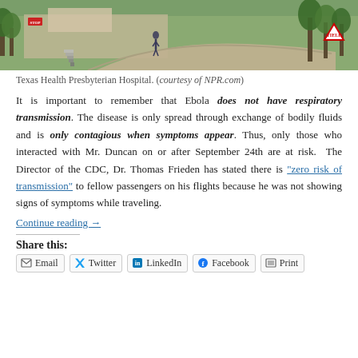[Figure (photo): Exterior photo of Texas Health Presbyterian Hospital showing a curved walkway, stairs, a person walking, trees and green lawn in the foreground, and a yield sign on the right.]
Texas Health Presbyterian Hospital. (courtesy of NPR.com)
It is important to remember that Ebola does not have respiratory transmission. The disease is only spread through exchange of bodily fluids and is only contagious when symptoms appear. Thus, only those who interacted with Mr. Duncan on or after September 24th are at risk. The Director of the CDC, Dr. Thomas Frieden has stated there is "zero risk of transmission" to fellow passengers on his flights because he was not showing signs of symptoms while traveling.
Continue reading →
Share this:
Email   Twitter   LinkedIn   Facebook   Print